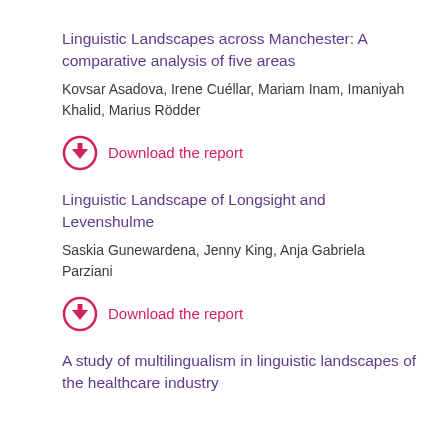Linguistic Landscapes across Manchester: A comparative analysis of five areas
Kovsar Asadova, Irene Cuéllar, Mariam Inam, Imaniyah Khalid, Marius Rödder
Download the report
Linguistic Landscape of Longsight and Levenshulme
Saskia Gunewardena, Jenny King, Anja Gabriela Parziani
Download the report
A study of multilingualism in linguistic landscapes of the healthcare industry